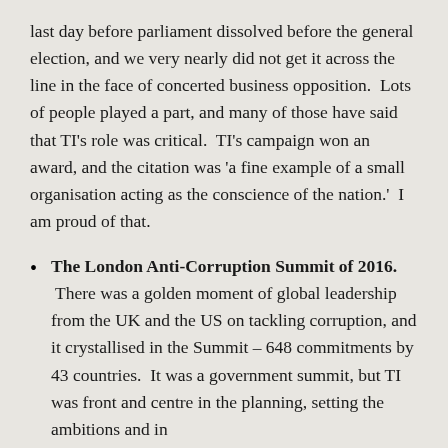last day before parliament dissolved before the general election, and we very nearly did not get it across the line in the face of concerted business opposition.  Lots of people played a part, and many of those have said that TI's role was critical.  TI's campaign won an award, and the citation was 'a fine example of a small organisation acting as the conscience of the nation.'  I am proud of that.
The London Anti-Corruption Summit of 2016.  There was a golden moment of global leadership from the UK and the US on tackling corruption, and it crystallised in the Summit – 648 commitments by 43 countries.  It was a government summit, but TI was front and centre in the planning, setting the ambitions and in